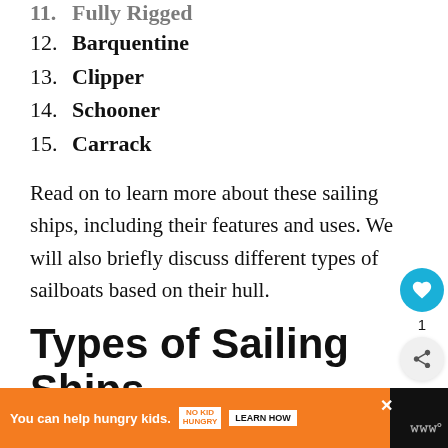11. Fully Rigged (partial, clipped)
12. Barquentine
13. Clipper
14. Schooner
15. Carrack
Read on to learn more about these sailing ships, including their features and uses. We will also briefly discuss different types of sailboats based on their hull.
Types of Sailing Ships
[Figure (screenshot): Orange advertisement bar at the bottom: 'You can help hungry kids. No Kid Hungry. LEARN HOW' with close button and Wealthsimple logo.]